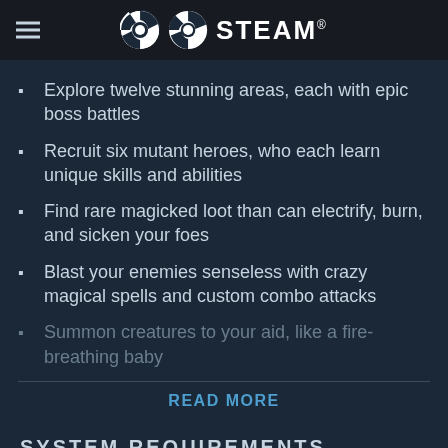STEAM
Explore twelve stunning areas, each with epic boss battles
Recruit six mutant heroes, who each learn unique skills and abilities
Find rare magicked loot than can electrify, burn, and sicken your foes
Blast your enemies senseless with crazy magical spells and custom combo attacks
Summon creatures to your aid, like a fire-breathing baby
READ MORE
SYSTEM REQUIREMENTS
MINIMUM:
OS:  Windows XP SP2+
Processor:  Celeron
Memory:  512 MB RAM
Graphics:  Nearly any integrated graphics or 3D Card